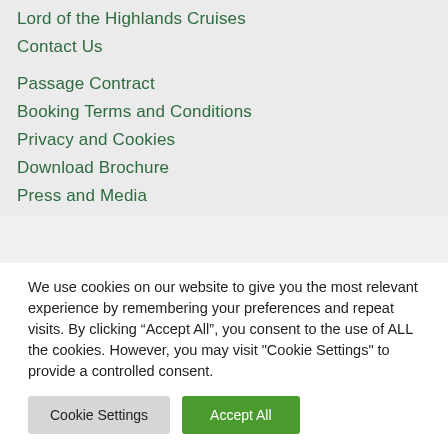Lord of the Highlands Cruises
Contact Us
Passage Contract
Booking Terms and Conditions
Privacy and Cookies
Download Brochure
Press and Media
We use cookies on our website to give you the most relevant experience by remembering your preferences and repeat visits. By clicking “Accept All”, you consent to the use of ALL the cookies. However, you may visit "Cookie Settings" to provide a controlled consent.